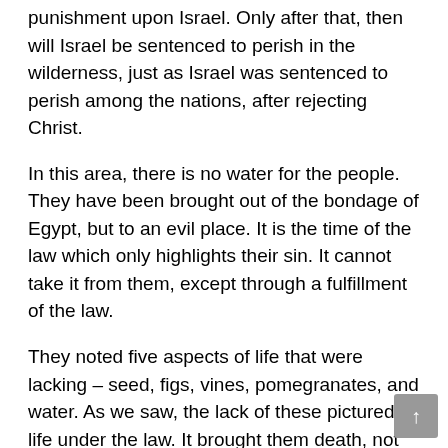punishment upon Israel. Only after that, then will Israel be sentenced to perish in the wilderness, just as Israel was sentenced to perish among the nations, after rejecting Christ.
In this area, there is no water for the people. They have been brought out of the bondage of Egypt, but to an evil place. It is the time of the law which only highlights their sin. It cannot take it from them, except through a fulfillment of the law.
They noted five aspects of life that were lacking – seed, figs, vines, pomegranates, and water. As we saw, the lack of these pictured life under the law. It brought them death, not life. It did not establish a suitable connection to God. It did not produce spiritual blessing. It could not bring them to spiritual maturity. And it did not bring them the Spirit and life.